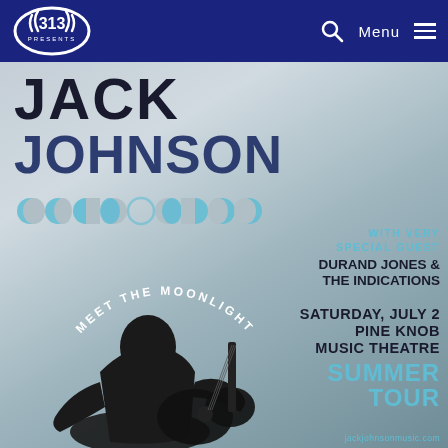313 PRESENTS
JACK JOHNSON
[Figure (illustration): Moon phase icons row (crescent to full moon phases in teal/blue), plus circular curved text reading MEET THE MOONLIGHT, and silhouette of Jack Johnson playing guitar]
WITH VERY SPECIAL GUEST DURAND JONES & THE INDICATIONS
SATURDAY, JULY 2 PINE KNOB MUSIC THEATRE
SUMMER TOUR
jackjohnsonmusic.com